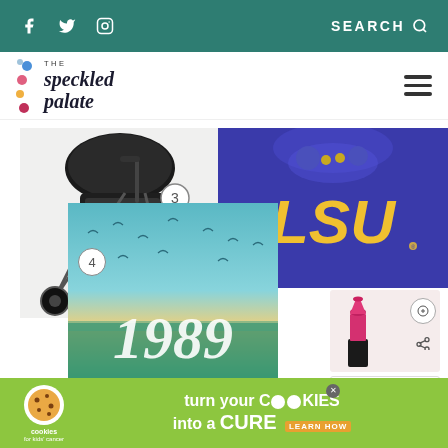f  Twitter  Instagram  SEARCH
[Figure (logo): The Speckled Palate logo with colorful dots and serif italic text]
[Figure (photo): Black jogging stroller with circle number 3 label]
[Figure (photo): LSU blue sweatshirt with gold tiger logo and LSU text]
[Figure (photo): 1989 Taylor Swift album artwork with number 4 circle label]
[Figure (photo): Pink lipstick with share and comment icons]
[Figure (photo): What's Next - How to Broil Steak with food thumbnail]
[Figure (photo): Pink lip gloss product]
[Figure (advertisement): Cookies for Kids Cancer - turn your cookies into a cure - learn how - green banner ad]